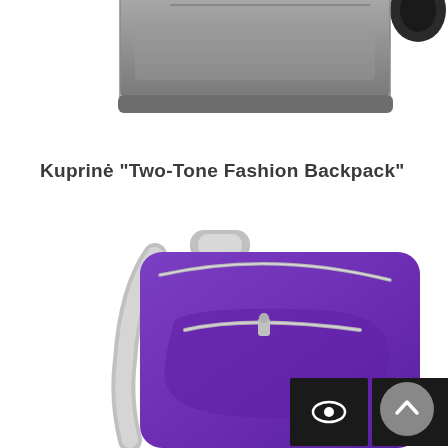[Figure (photo): Gray rectangular wash bag / toiletry bag partially visible at top of page, with a black object at the upper right corner]
Kuprinė "Two-Tone Fashion Backpack"
[Figure (photo): Purple and gray two-tone fashion backpack with gray zipper details and straps, partially visible at bottom of page. Overlaid with three dark square icon buttons: an eye icon, a heart icon, and a bar chart icon.]
[Figure (illustration): Dark gray circular scroll-to-top button with an upward chevron arrow, positioned at bottom right corner]